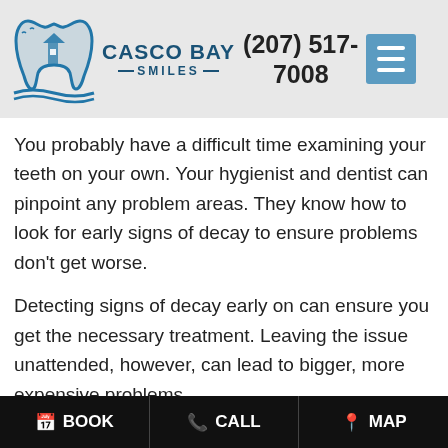[Figure (logo): Casco Bay Smiles dental practice logo with tooth and lighthouse icon, phone number (207) 517-7008, and hamburger menu button]
You probably have a difficult time examining your teeth on your own. Your hygienist and dentist can pinpoint any problem areas. They know how to look for early signs of decay to ensure problems don't get worse.
Detecting signs of decay early on can ensure you get the necessary treatment. Leaving the issue unattended, however, can lead to bigger, more expensive problems.
2. Avoid Gingivitis
Remember, plaque and tartar can build against your
BOOK   CALL   MAP